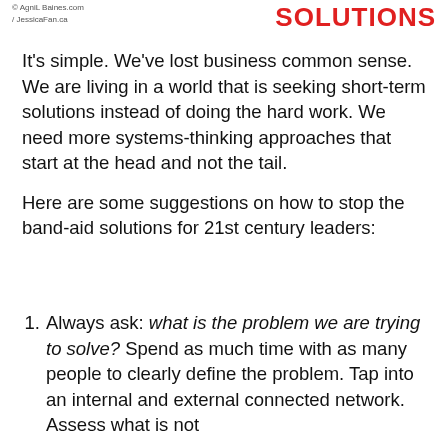© AgniL Baines.com
/ JessicaFan.ca
SOLUTIONS
It's simple. We've lost business common sense. We are living in a world that is seeking short-term solutions instead of doing the hard work. We need more systems-thinking approaches that start at the head and not the tail.
Here are some suggestions on how to stop the band-aid solutions for 21st century leaders:
Always ask: what is the problem we are trying to solve? Spend as much time with as many people to clearly define the problem. Tap into an internal and external connected network. Assess what is not